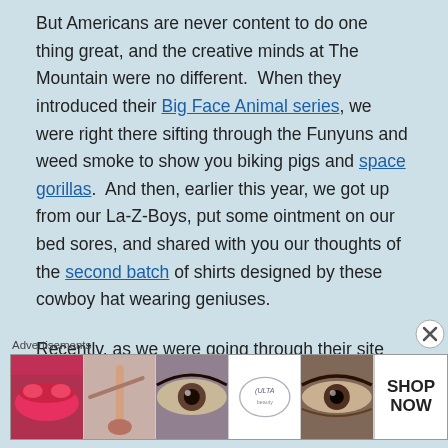But Americans are never content to do one thing great, and the creative minds at The Mountain were no different.  When they introduced their Big Face Animal series, we were right there sifting through the Funyuns and weed smoke to show you biking pigs and space gorillas.  And then, earlier this year, we got up from our La-Z-Boys, put some ointment on our bed sores, and shared with you our thoughts of the second batch of shirts designed by these cowboy hat wearing geniuses.
Recently, as we were going through their site looking for Christmas presents for our friends, families, and the one guy on our
[Figure (other): Advertisement banner labeled 'Advertisements' showing beauty/makeup product images with Ulta logo and 'SHOP NOW' call to action]